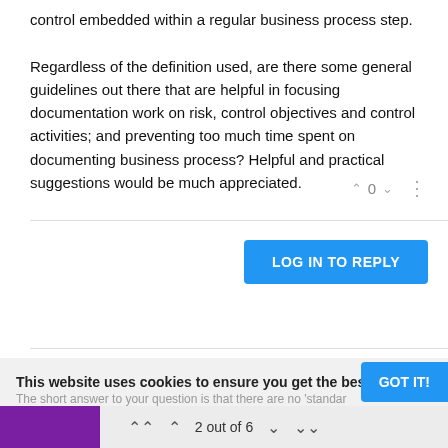control embedded within a regular business process step. Regardless of the definition used, are there some general guidelines out there that are helpful in focusing documentation work on risk, control objectives and control activities; and preventing too much time spent on documenting business process? Helpful and practical suggestions would be much appreciated.
^ 0 v ⋮
LOG IN TO REPLY
kymike Apr 28, 2019, 9:23 PM
Welcome to the forum graybeard. We look forward to your ongoing questions and input. The short answer to your question is that there are no 'standar
This website uses cookies to ensure you get the best
GOT IT!
2 out of 6